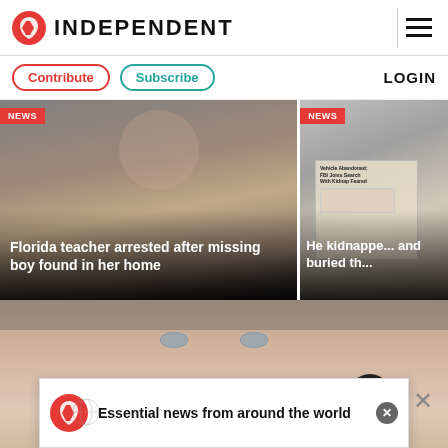INDEPENDENT
Contribute | Subscribe | LOGIN
[Figure (photo): Close-up photo of a woman's face (Florida teacher), with NEWS badge and headline overlay: Florida teacher arrested after missing boy found in her home]
[Figure (photo): Close-up photo showing a newspaper clipping about a kidnapping, with NEWS badge and partial headline: He kidnapped... and buried th...]
[Figure (photo): Close-up photo of an older man's face with grey hair and blue eyes]
Essential news from around the world